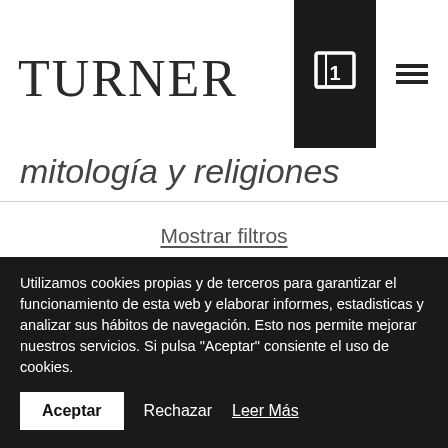TURNER
mitología y religiones
Mostrar filtros
introduce aquí el título de un producto...
"Nietzsche" se ha añadido a tu carrito  Ver carrito
Utilizamos cookies propias y de terceros para garantizar el funcionamiento de esta web y elaborar informes, estadisticas y analizar sus hábitos de navegación. Esto nos permite mejorar nuestros servicios. Si pulsa "Aceptar" consiente el uso de cookies.
Aceptar  Rechazar  Leer Más